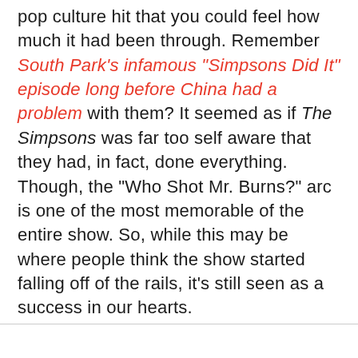pop culture hit that you could feel how much it had been through. Remember South Park's infamous "Simpsons Did It" episode long before China had a problem with them? It seemed as if The Simpsons was far too self aware that they had, in fact, done everything. Though, the "Who Shot Mr. Burns?" arc is one of the most memorable of the entire show. So, while this may be where people think the show started falling off of the rails, it's still seen as a success in our hearts.